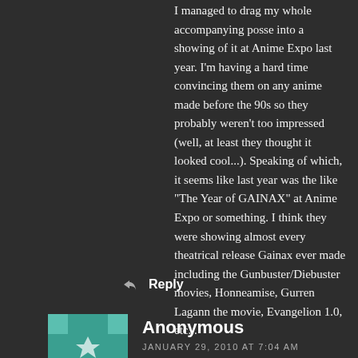I managed to drag my whole accompanying posse into a showing of it at Anime Expo last year. I'm having a hard time convincing them on any anime made before the 90s so they probably weren't too impressed (well, at least they thought it looked cool...). Speaking of which, it seems like last year was the like "The Year of GAINAX" at Anime Expo or something. I think they were showing almost every theatrical release Gainax ever made including the Gunbuster/Diebuster movies, Honneamise, Gurren Lagann the movie, Evangelion 1.0, etc...
Reply
Anonymous
JANUARY 29, 2010 AT 7:04 AM